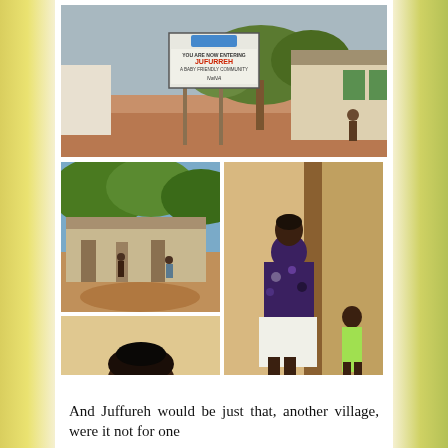[Figure (photo): A sign reading 'You Are Now Entering Jufurreh A Baby Friendly Community NANA' stands in a dusty village, with a white building with green shutters visible to the right and trees in the background.]
[Figure (photo): A dirt road in an African village lined with low mud-brick buildings under a blue sky with trees.]
[Figure (photo): A woman in a colorful purple and black patterned dress sits on a step outside a building, with a young girl in a yellow dress standing nearby.]
[Figure (photo): A young woman in a black, purple, and green patterned top poses against a light-colored wall.]
[Figure (photo): A group of women and children in colorful clothing gather outdoors around what appears to be a mortar and pestle, under tree shade.]
And Juffureh would be just that, another village, were it not for one